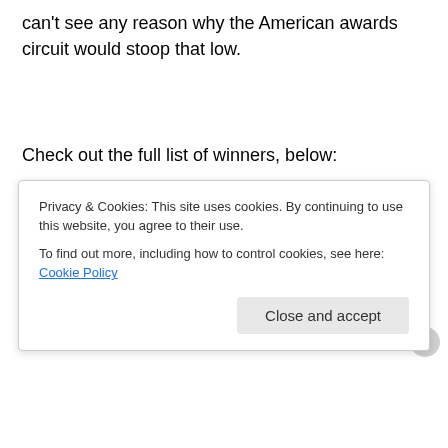can't see any reason why the American awards circuit would stoop that low.
Check out the full list of winners, below:
BEST FILM: “The King’s Speech”
BEST DIRECTOR: David Fincher – “The Social Network”
BEST LEADING ACTOR: Colin Firth – “The King’s Speech”
Privacy & Cookies: This site uses cookies. By continuing to use this website, you agree to their use.
To find out more, including how to control cookies, see here: Cookie Policy